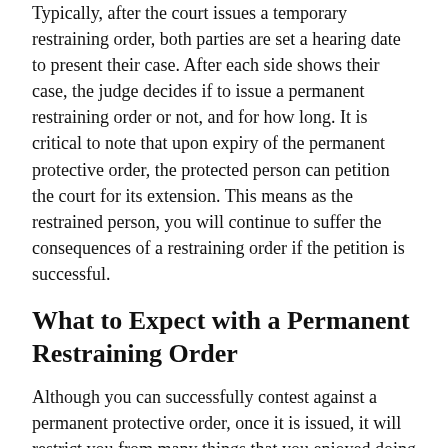Typically, after the court issues a temporary restraining order, both parties are set a hearing date to present their case. After each side shows their case, the judge decides if to issue a permanent restraining order or not, and for how long. It is critical to note that upon expiry of the permanent protective order, the protected person can petition the court for its extension. This means as the restrained person, you will continue to suffer the consequences of a restraining order if the petition is successful.
What to Expect with a Permanent Restraining Order
Although you can successfully contest against a permanent protective order, once it is issued, it will restrict you from many things that you enjoyed doing before. Additionally, the permanent protective order restricts you from:
Being near your children, relatives, or persons named as protected by the order.